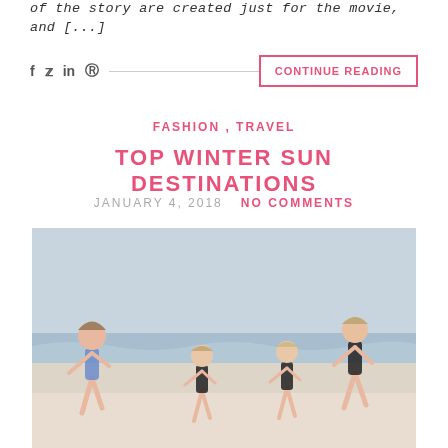of the story are created just for the movie, and [...]
f  y  in  @  ———————————————  CONTINUE READING
FASHION , TRAVEL
TOP WINTER SUN DESTINATIONS
JANUARY 4, 2018   NO COMMENTS
[Figure (photo): Four children running on a beach with waves and overcast sky in the background]